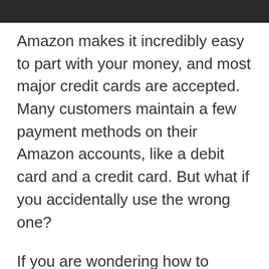[Figure (photo): Dark/black photo strip at top of page, partially cropped]
Amazon makes it incredibly easy to part with your money, and most major credit cards are accepted. Many customers maintain a few payment methods on their Amazon accounts, like a debit card and a credit card. But what if you accidentally use the wrong one?
If you are wondering how to change your payment methods on Amazon after purchase, you've come to the